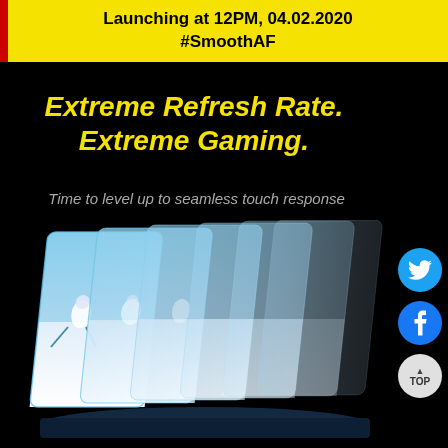Launching at 12PM, 04.02.2020
#SmoothAF
Extreme Refresh Rate. Extreme Gaming.
Time to level up to seamless touch response
[Figure (illustration): Multiple overlapping transparent smartphone screens arranged in a fan/cascade pattern from left to right, showing a winter scene with a skier on a snowy slope. The screens progress from fully visible on the left to more transparent/ghosted on the right, suggesting high refresh rate motion.]
[Figure (infographic): Social media icons on the right side: Twitter (blue bird icon), Facebook (blue 'f' icon), and a white TOP button with upward arrow.]